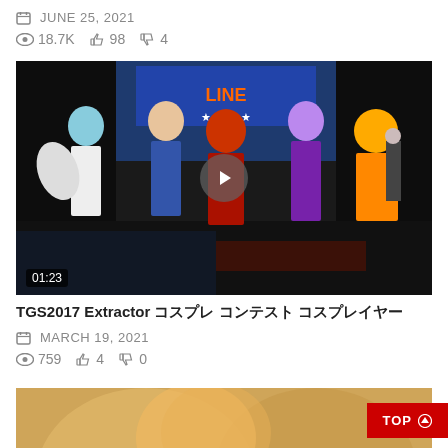JUNE 25, 2021
18.7K  98  4
[Figure (screenshot): Video thumbnail showing cosplay performers at TGS2017, with play button overlay and duration badge 01:23]
TGS2017 Extractor コスプレ コンテスト コスプレイヤー
MARCH 19, 2021
759  4  0
[Figure (photo): Partial photo of a person (bottom portion, preview of next article)]
TOP ↑